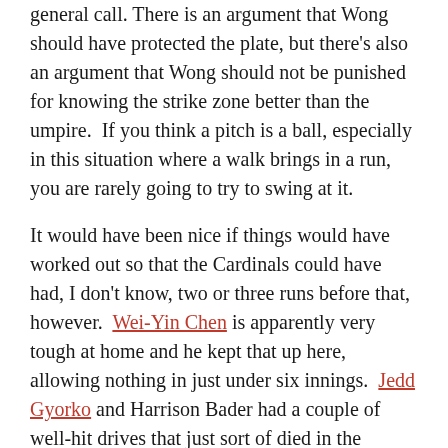general call. There is an argument that Wong should have protected the plate, but there's also an argument that Wong should not be punished for knowing the strike zone better than the umpire. If you think a pitch is a ball, especially in this situation where a walk brings in a run, you are rarely going to try to swing at it.
It would have been nice if things would have worked out so that the Cardinals could have had, I don't know, two or three runs before that, however. Wei-Yin Chen is apparently very tough at home and he kept that up here, allowing nothing in just under six innings. Jedd Gyorko and Harrison Bader had a couple of well-hit drives that just sort of died in the deepest part of the park and having the roof open may not have been helpful either.
Marcell Ozuna enjoyed his return to Miami by getting three hits, but like so often has been the case this season, all of them were singles. Bader had two hits and